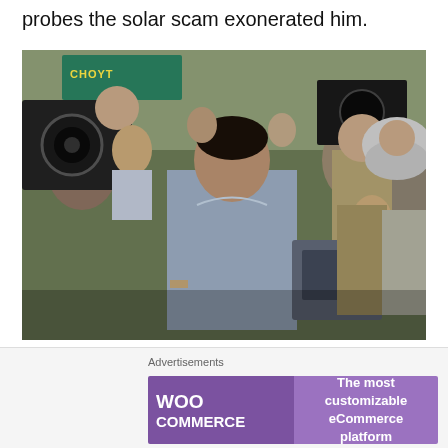probes the solar scam exonerated him.
[Figure (photo): Salim Raj surrounded by media cameras and police outside a court in Kozhikode. A man in a light blue shirt is in the center being escorted by police officers in uniform and helmets amid a large crowd and media personnel with cameras.]
Salim Raj outside a court in Kozhikode (Source: indiatoday.intoday.in)
On September 10, 2013, confident of his protectors in the
Advertisements
[Figure (other): WooCommerce advertisement banner: 'The most customizable eCommerce platform']